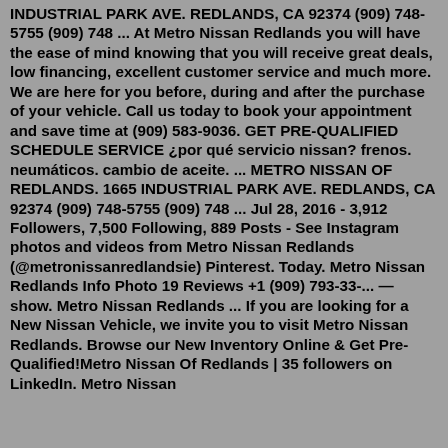INDUSTRIAL PARK AVE. REDLANDS, CA 92374 (909) 748-5755 (909) 748 ... At Metro Nissan Redlands you will have the ease of mind knowing that you will receive great deals, low financing, excellent customer service and much more. We are here for you before, during and after the purchase of your vehicle. Call us today to book your appointment and save time at (909) 583-9036. GET PRE-QUALIFIED SCHEDULE SERVICE ¿por qué servicio nissan? frenos. neumáticos. cambio de aceite. ... METRO NISSAN OF REDLANDS. 1665 INDUSTRIAL PARK AVE. REDLANDS, CA 92374 (909) 748-5755 (909) 748 ... Jul 28, 2016 - 3,912 Followers, 7,500 Following, 889 Posts - See Instagram photos and videos from Metro Nissan Redlands (@metronissanredlandsie) Pinterest. Today. Metro Nissan Redlands Info Photo 19 Reviews +1 (909) 793-33-... — show. Metro Nissan Redlands ... If you are looking for a New Nissan Vehicle, we invite you to visit Metro Nissan Redlands. Browse our New Inventory Online & Get Pre-Qualified!Metro Nissan Of Redlands | 35 followers on LinkedIn. Metro Nissan